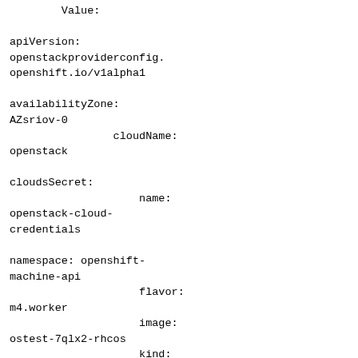Value:
apiVersion: openstackproviderconfig.openshift.io/v1alpha1

availabilityZone: AZsriov-0
                cloudName: openstack

cloudsSecret:
                    name: openstack-cloud-credentials

namespace: openshift-machine-api
                flavor: m4.worker
                image: ostest-7qlx2-rhcos
                kind: OpenstackProviderSpec

configDrive: True
                    metadata:

creationTimestamp: null
                    #